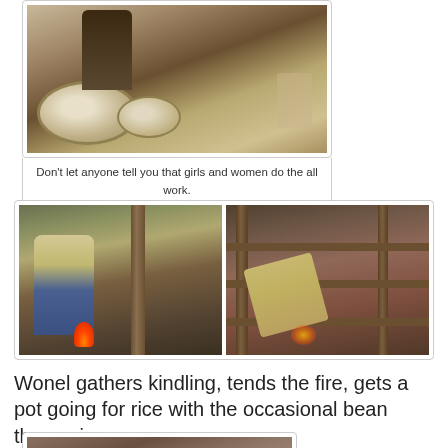[Figure (photo): A person washing or preparing food in large metal bowls outdoors on sandy ground]
Don't let anyone tell you that girls and women do the all work. Hunger is an equal opportunity employer.
[Figure (photo): Two side-by-side photos of a boy named Wonel tending a fire under a structure with wooden posts]
Wonel gathers kindling, tends the fire, gets a pot going for rice with the occasional bean thrown in.
[Figure (photo): Close-up photo of a child's face near a wooden structure]